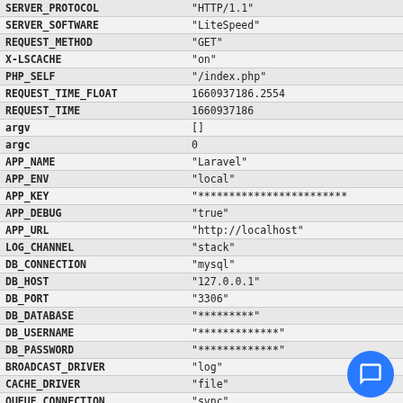| Key | Value |
| --- | --- |
| SERVER_PROTOCOL | "HTTP/1.1" |
| SERVER_SOFTWARE | "LiteSpeed" |
| REQUEST_METHOD | "GET" |
| X-LSCACHE | "on" |
| PHP_SELF | "/index.php" |
| REQUEST_TIME_FLOAT | 1660937186.2554 |
| REQUEST_TIME | 1660937186 |
| argv | [] |
| argc | 0 |
| APP_NAME | "Laravel" |
| APP_ENV | "local" |
| APP_KEY | "************************ |
| APP_DEBUG | "true" |
| APP_URL | "http://localhost" |
| LOG_CHANNEL | "stack" |
| DB_CONNECTION | "mysql" |
| DB_HOST | "127.0.0.1" |
| DB_PORT | "3306" |
| DB_DATABASE | "*********" |
| DB_USERNAME | "*************" |
| DB_PASSWORD | "*************" |
| BROADCAST_DRIVER | "log" |
| CACHE_DRIVER | "file" |
| QUEUE_CONNECTION | "sync" |
| SESSION_DRIVER | "file" |
| SESSION_LIFETIME | "120" |
| REDIS_HOST | "127.0.0.1" |
| REDIS_PASSWORD | "****" |